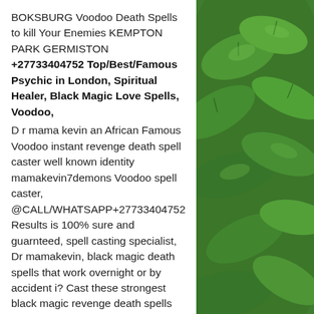BOKSBURG Voodoo Death Spells to kill Your Enemies KEMPTON PARK GERMISTON +27733404752 Top/Best/Famous Psychic in London, Spiritual Healer, Black Magic Love Spells, Voodoo, D r mama kevin an African Famous Voodoo instant revenge death spell caster well known identity mamakevin7demons Voodoo spell caster, @CALL/WHATSAPP+27733404752 Results is 100% sure and guarnteed, spell casting specialist, Dr mamakevin, black magic death spells that work overnight or by accident i? Cast these strongest black magic revenge death spells that work fast overnight to kill ex lover, husband, wife girlfriend Enemies overnight without delay. It doesn't matter whether he or she is in a far location, I guarantee you to have your results you are looking for immediately. Just make
[Figure (photo): Green leafy plants/foliage background photo on the right side of the page]